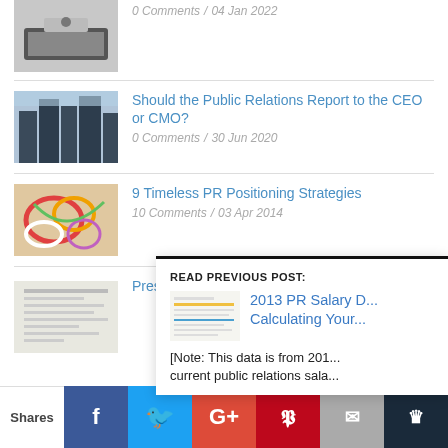[Figure (photo): Person typing on a laptop, top portion cropped]
0 Comments / 04 Jan 2022
[Figure (photo): Looking up at skyscrapers from below]
Should the Public Relations Report to the CEO or CMO?
0 Comments / 30 Jun 2020
[Figure (photo): Colorful abstract graffiti art]
9 Timeless PR Positioning Strategies
10 Comments / 03 Apr 2014
[Figure (photo): Press release document on paper]
Press Release... Press Release... other FAQs]
READ PREVIOUS POST:
[Figure (screenshot): Thumbnail of salary data table]
2013 PR Salary D... Calculating Your...
[Note: This data is from 201... current public relations sala...
Shares